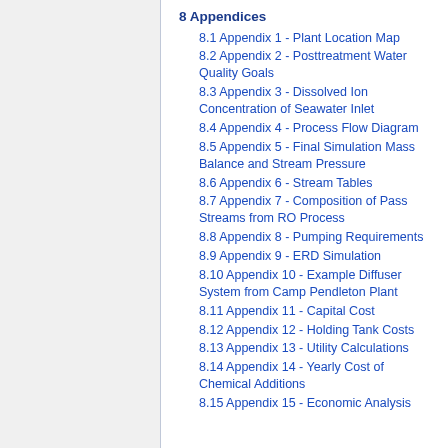8 Appendices
8.1 Appendix 1 - Plant Location Map
8.2 Appendix 2 - Posttreatment Water Quality Goals
8.3 Appendix 3 - Dissolved Ion Concentration of Seawater Inlet
8.4 Appendix 4 - Process Flow Diagram
8.5 Appendix 5 - Final Simulation Mass Balance and Stream Pressure
8.6 Appendix 6 - Stream Tables
8.7 Appendix 7 - Composition of Pass Streams from RO Process
8.8 Appendix 8 - Pumping Requirements
8.9 Appendix 9 - ERD Simulation
8.10 Appendix 10 - Example Diffuser System from Camp Pendleton Plant
8.11 Appendix 11 - Capital Cost
8.12 Appendix 12 - Holding Tank Costs
8.13 Appendix 13 - Utility Calculations
8.14 Appendix 14 - Yearly Cost of Chemical Additions
8.15 Appendix 15 - Economic Analysis